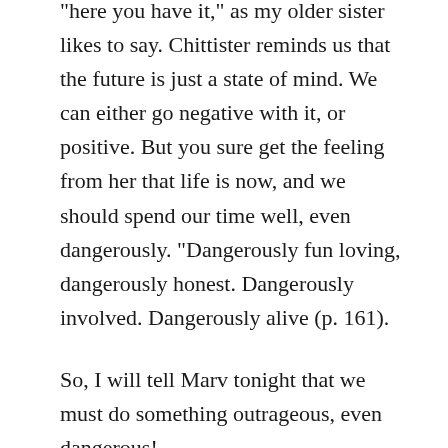“here you have it,” as my older sister likes to say. Chittister reminds us that the future is just a state of mind. We can either go negative with it, or positive. But you sure get the feeling from her that life is now, and we should spend our time well, even dangerously. “Dangerously fun loving, dangerously honest. Dangerously involved. Dangerously alive (p. 161).
So, I will tell Marv tonight that we must do something outrageous, even dangerous!
But he’s already washed the cars and planted more flowers and worked on bedside tables he’s making for our